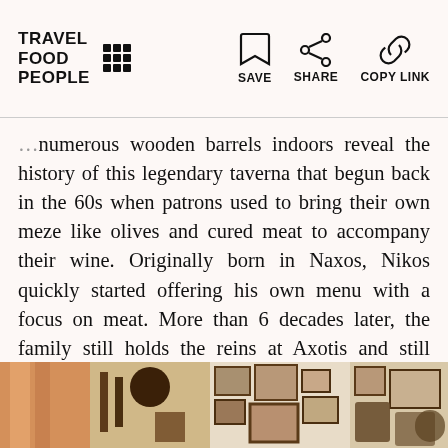TRAVEL FOOD PEOPLE | SAVE  SHARE  COPY LINK
numerous wooden barrels indoors reveal the history of this legendary taverna that begun back in the 60s when patrons used to bring their own meze like olives and cured meat to accompany their wine. Originally born in Naxos, Nikos quickly started offering his own menu with a focus on meat. More than 6 decades later, the family still holds the reins at Axotis and still continues to offer warm hospitality and great food.
[Figure (photo): Interior photo of the taverna showing wooden decorative items, framed photographs on the wall, and rustic decor elements.]